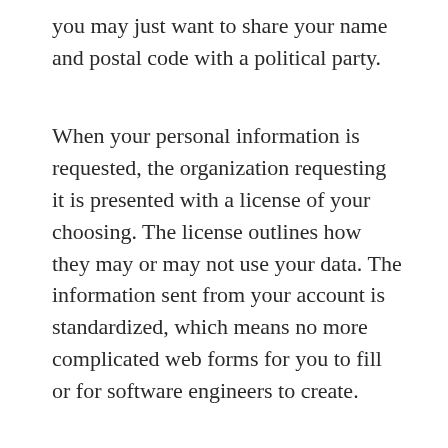you may just want to share your name and postal code with a political party.
When your personal information is requested, the organization requesting it is presented with a license of your choosing. The license outlines how they may or may not use your data. The information sent from your account is standardized, which means no more complicated web forms for you to fill or for software engineers to create.